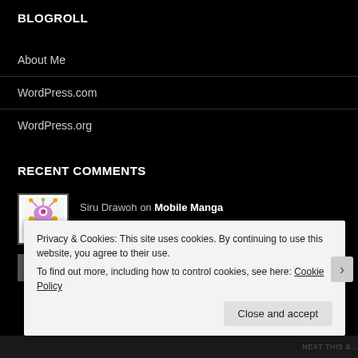BLOGROLL
About Me
WordPress.com
WordPress.org
RECENT COMMENTS
Siru Drawoh on Mobile Manga
themarvinboards on Use The Force, Jim – The
Privacy & Cookies: This site uses cookies. By continuing to use this website, you agree to their use. To find out more, including how to control cookies, see here: Cookie Policy
Close and accept